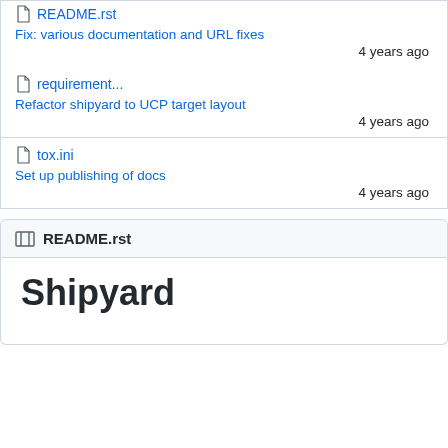README.rst
Fix: various documentation and URL fixes
4 years ago
requirement...
Refactor shipyard to UCP target layout
4 years ago
tox.ini
Set up publishing of docs
4 years ago
README.rst
Shipyard